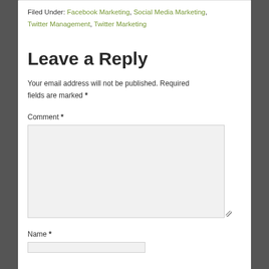Filed Under: Facebook Marketing, Social Media Marketing, Twitter Management, Twitter Marketing
Leave a Reply
Your email address will not be published. Required fields are marked *
Comment *
Name *